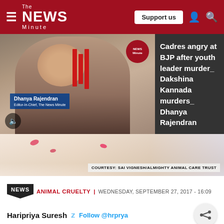The NEWS Minute | Support us
[Figure (screenshot): Video thumbnail of Dhanya Rajendran, Editor-In-Chief of The News Minute, with red graphic bars and The News Minute logo badge]
Cadres angry at BJP after youth leader murder_ Dakshina Kannada murders_ Dhanya Rajendran
[Figure (photo): Close-up image of a surface with pink flower petals, with courtesy tag: COURTESY: SAI VIGNESH/ALMIGHTY ANIMAL CARE TRUST]
COURTESY: SAI VIGNESH/ALMIGHTY ANIMAL CARE TRUST
NEWS  ANIMAL CRUELTY |  WEDNESDAY, SEPTEMBER 27, 2017 - 16:09
Haripriya Suresh   Follow @hrprya
[Figure (screenshot): Advertisement banner for BitLife game - Start a new life]
Animal [cruelty is rampant and not only t...] in a